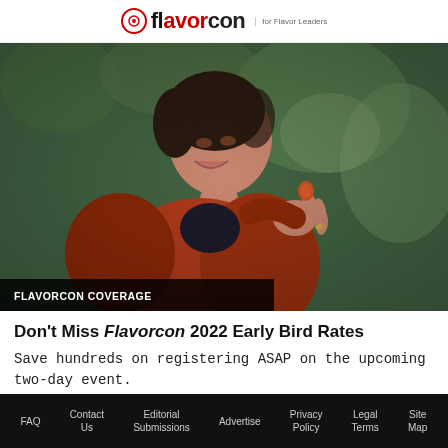flavorcon | for Flavor Leaders
[Figure (photo): Woman smiling and eating/tasting a small orange food item outdoors, with trees in background. Dark overlay label bar at bottom left reading FLAVORCON COVERAGE.]
Don't Miss Flavorcon 2022 Early Bird Rates
Save hundreds on registering ASAP on the upcoming two-day event.
FAQ   Contact Us   Editorial Submissions   Advertise   Privacy Policy   Legal Terms   Site Map